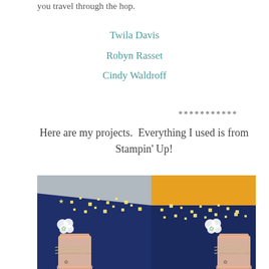you travel through the hop.
Twila Davis
Robyn Rasset
Cindy Waldroff
***********
Here are my projects.  Everything I used is from Stampin' Up!
[Figure (photo): A dark navy blue box/lantern decorated with yellow star cutouts and mason jar stamps with fireflies and flowers, shown with a yellow interior visible from the top.]